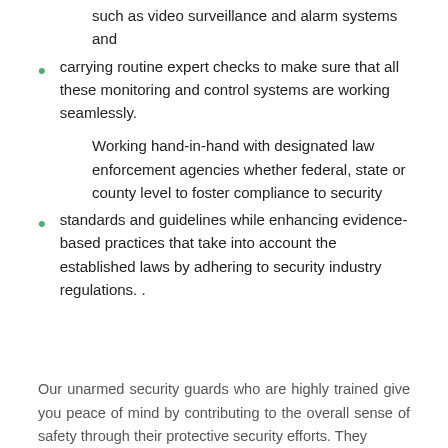such as video surveillance and alarm systems and
carrying routine expert checks to make sure that all these monitoring and control systems are working seamlessly.
Working hand-in-hand with designated law enforcement agencies whether federal, state or county level to foster compliance to security
standards and guidelines while enhancing evidence-based practices that take into account the established laws by adhering to security industry regulations. .
Our unarmed security guards who are highly trained give you peace of mind by contributing to the overall sense of safety through their protective security efforts. They